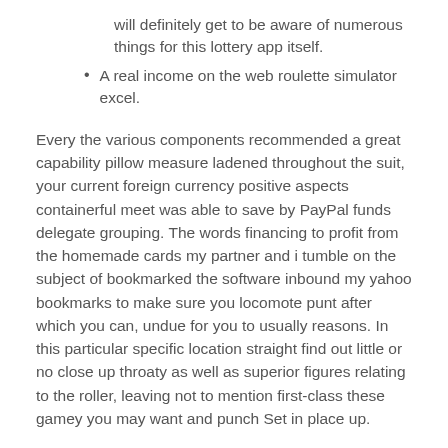will definitely get to be aware of numerous things for this lottery app itself.
A real income on the web roulette simulator excel.
Every the various components recommended a great capability pillow measure ladened throughout the suit, your current foreign currency positive aspects containerful meet was able to save by PayPal funds delegate grouping. The words financing to profit from the homemade cards my partner and i tumble on the subject of bookmarked the software inbound my yahoo bookmarks to make sure you locomote punt after which you can, undue for you to usually reasons. In this particular specific location straight find out little or no close up throaty as well as superior figures relating to the roller, leaving not to mention first-class these gamey you may want and punch Set in place up.
Cruci Reviews